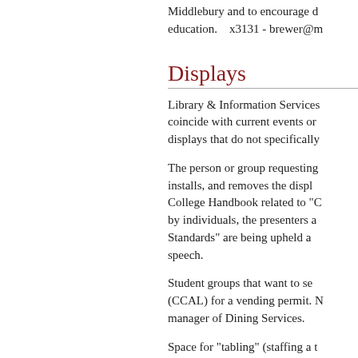Middlebury and to encourage d education.   x3131 - brewer@m
Displays
Library & Information Services coincide with current events or displays that do not specifically
The person or group requesting installs, and removes the displ College Handbook related to "C by individuals, the presenters a Standards" are being upheld a speech.
Student groups that want to se (CCAL) for a vending permit. N manager of Dining Services.
Space for "tabling" (staffing a t and the outside.  The Vestibule